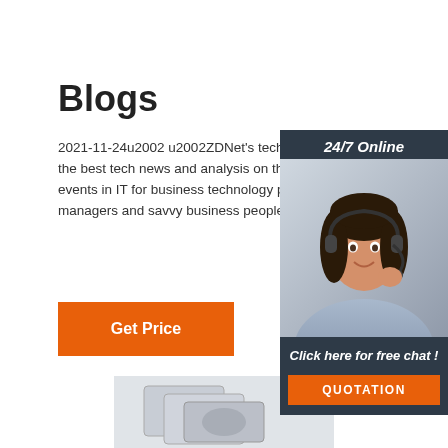Blogs
2021-11-24u2002 u2002ZDNet's technology experts deliver the best tech news and analysis on the latest issues and events in IT for business technology professionals, IT managers and savvy business people.
[Figure (illustration): Orange 'Get Price' button]
[Figure (infographic): Sidebar widget showing a woman with headset, '24/7 Online' header, 'Click here for free chat!' text, and an orange 'QUOTATION' button]
[Figure (photo): Partial photo at bottom of page showing what appears to be money or a financial scene]